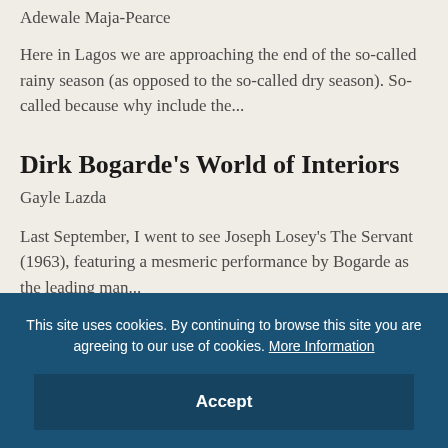Adewale Maja-Pearce
Here in Lagos we are approaching the end of the so-called rainy season (as opposed to the so-called dry season). So-called because why include the...
Dirk Bogarde’s World of Interiors
Gayle Lazda
Last September, I went to see Joseph Losey’s The Servant (1963), featuring a mesmeric performance by Bogarde as the leading man...
This site uses cookies. By continuing to browse this site you are agreeing to our use of cookies. More Information
Accept